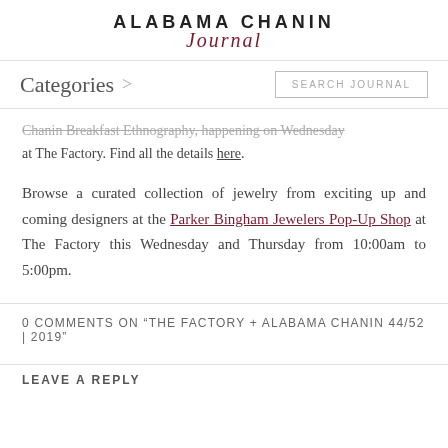ALABAMA CHANIN Journal
Categories >
Chanin Breakfast Ethnography, happening on Wednesday at The Factory. Find all the details here.
Browse a curated collection of jewelry from exciting up and coming designers at the Parker Bingham Jewelers Pop-Up Shop at The Factory this Wednesday and Thursday from 10:00am to 5:00pm.
0 COMMENTS ON "THE FACTORY + ALABAMA CHANIN 44/52 | 2019"
LEAVE A REPLY